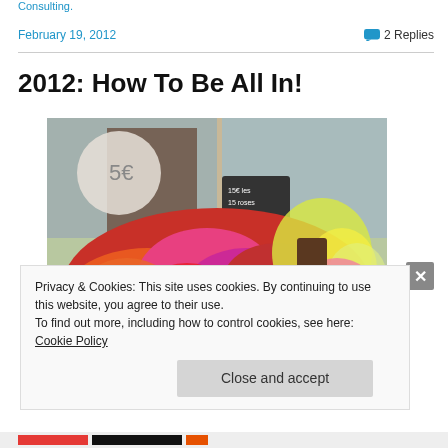Consulting.
February 19, 2012
2 Replies
2012: How To Be All In!
[Figure (photo): Colorful roses and flowers displayed outside a Parisian flower shop with a chalkboard price sign reading '15€ les 15 roses' and a circular sign showing '5€'.]
Privacy & Cookies: This site uses cookies. By continuing to use this website, you agree to their use.
To find out more, including how to control cookies, see here: Cookie Policy
Close and accept